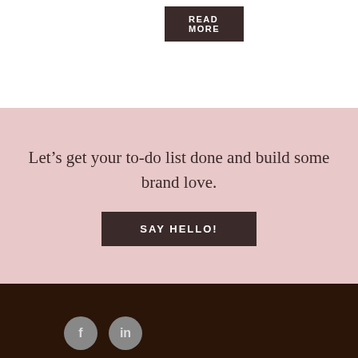READ MORE
Let’s get your to-do list done and build some brand love.
SAY HELLO!
[Figure (other): Dark brown footer background with two circular social media icons (Facebook and LinkedIn) at the bottom left]